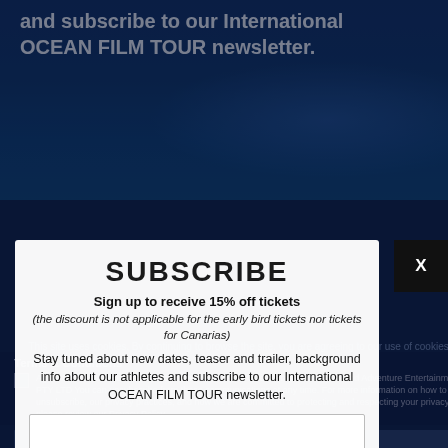[Figure (screenshot): Ocean blue background with whale silhouette underwater]
and subscribe to our International OCEAN FILM TOUR newsletter.
SUBSCRIBE
Sign up to receive 15% off tickets
(the discount is not applicable for the early bird tickets nor tickets for Canarias)
Stay tuned about new dates, teaser and trailer, background info about our athletes and subscribe to our International OCEAN FILM TOUR newsletter.
Terms & Conditions *
Agree to receive other communications from Roscoe Street Productions LDA and Adventure Entertainment PTY LTD You can unsubscribe from these communications at any time. For more information on how to unsubscribe, our privacy practices, and how we are committed to protecting and respecting your privacy, please review our Privacy Policy